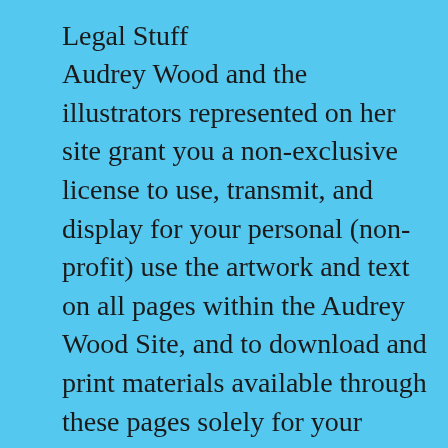Legal Stuff
Audrey Wood and the illustrators represented on her site grant you a non-exclusive license to use, transmit, and display for your personal (non-profit) use the artwork and text on all pages within the Audrey Wood Site, and to download and print materials available through these pages solely for your personal, classroom, or library non-commercial use. You may also create as many